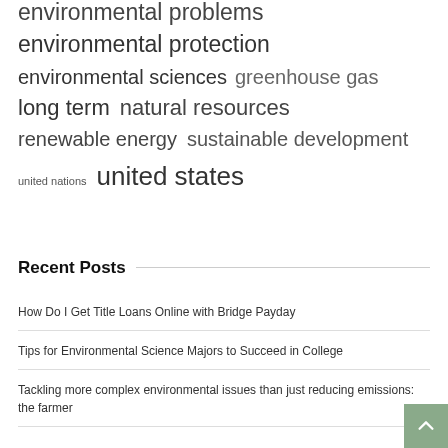[Figure (infographic): Tag cloud showing environmental and science-related keywords in varying font sizes: environmental problems (partially visible at top), environmental protection, environmental sciences, greenhouse gas, long term, natural resources, renewable energy, sustainable development, united nations (small), united states (large)]
Recent Posts
How Do I Get Title Loans Online with Bridge Payday
Tips for Environmental Science Majors to Succeed in College
Tackling more complex environmental issues than just reducing emissions: the farmer